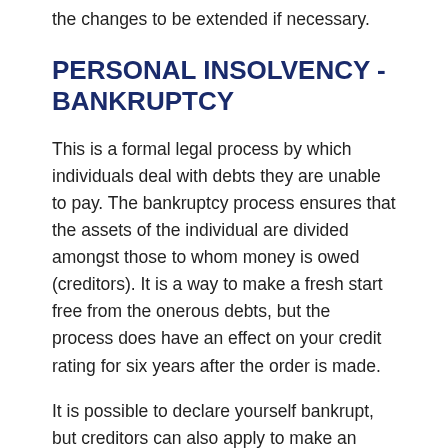the changes to be extended if necessary.
PERSONAL INSOLVENCY - BANKRUPTCY
This is a formal legal process by which individuals deal with debts they are unable to pay. The bankruptcy process ensures that the assets of the individual are divided amongst those to whom money is owed (creditors). It is a way to make a fresh start free from the onerous debts, but the process does have an effect on your credit rating for six years after the order is made.
It is possible to declare yourself bankrupt, but creditors can also apply to make an individual who owes them money bankrupt too.